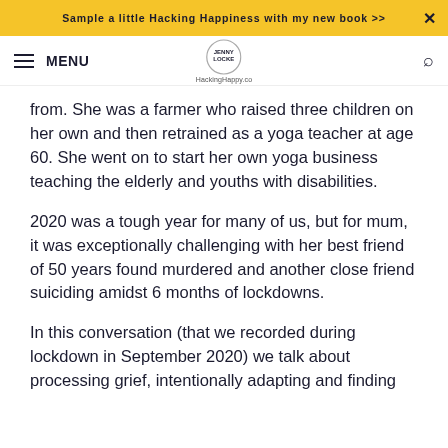Sample a little Hacking Happiness with my new book >>  ×
MENU  HackingHappy.co
from. She was a farmer who raised three children on her own and then retrained as a yoga teacher at age 60. She went on to start her own yoga business teaching the elderly and youths with disabilities.
2020 was a tough year for many of us, but for mum, it was exceptionally challenging with her best friend of 50 years found murdered and another close friend suiciding amidst 6 months of lockdowns.
In this conversation (that we recorded during lockdown in September 2020) we talk about processing grief, intentionally adapting and finding